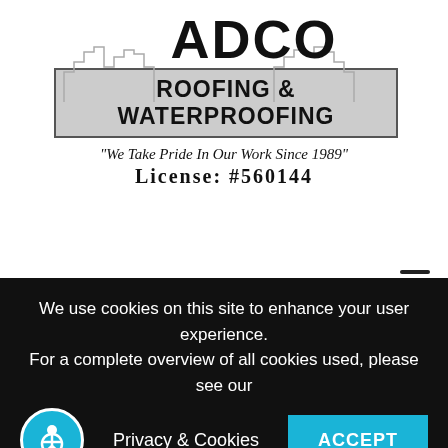[Figure (logo): ADCO Roofing & Waterproofing company logo with cityscape skyline silhouette, bold ADCO text, banner reading ROOFING & WATERPROOFING, tagline 'We Take Pride In Our Work Since 1989', and License: #560144]
looks good and lasts the distance.
It saves money, promotes energy efficiency, and continues to inspire and innovate architects and designers with the vast selection of colors and styles
We use cookies on this site to enhance your user experience. For a complete overview of all cookies used, please see our
Privacy & Cookies
ACCEPT